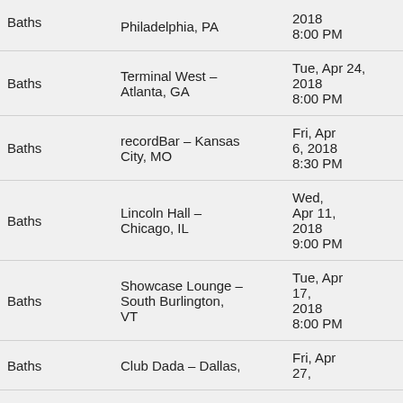| Artist | Venue | Date | Ticket |
| --- | --- | --- | --- |
| Baths | Philadelphia, PA | 2018
8:00 PM | LIVN |
| Baths | Terminal West – Atlanta, GA | Tue, Apr 24, 2018
8:00 PM | TFLY |
| Baths | recordBar – Kansas City, MO | Fri, Apr 6, 2018
8:30 PM | AXS |
| Baths | Lincoln Hall – Chicago, IL | Wed, Apr 11, 2018
9:00 PM | TFLY |
| Baths | Showcase Lounge – South Burlington, VT | Tue, Apr 17, 2018
8:00 PM | TFLY |
| Baths | Club Dada – Dallas, | Fri, Apr 27, |  |